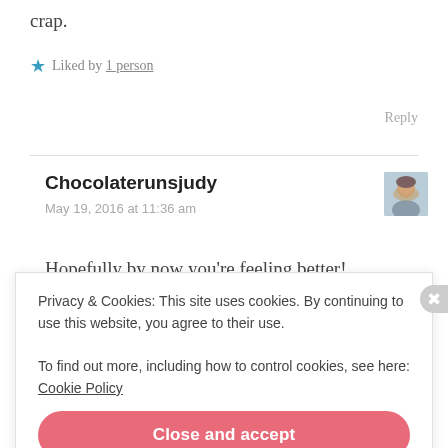crap.
★ Liked by 1 person
Reply
Chocolaterunsjudy
May 19, 2016 at 11:36 am
[Figure (photo): Avatar photo of commenter Chocolaterunsjudy showing a person with a scarf]
Hopefully by now you're feeling better!
Privacy & Cookies: This site uses cookies. By continuing to use this website, you agree to their use.
To find out more, including how to control cookies, see here: Cookie Policy
Close and accept